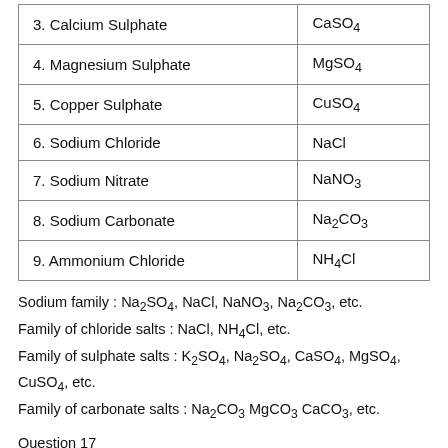| Name | Formula |
| --- | --- |
| 3. Calcium Sulphate | CaSO4 |
| 4. Magnesium Sulphate | MgSO4 |
| 5. Copper Sulphate | CuSO4 |
| 6. Sodium Chloride | NaCl |
| 7. Sodium Nitrate | NaNO3 |
| 8. Sodium Carbonate | Na2CO3 |
| 9. Ammonium Chloride | NH4Cl |
Sodium family : Na2SO4, NaCl, NaNO3, Na2CO3, etc.
Family of chloride salts : NaCl, NH4Cl, etc.
Family of sulphate salts : K2SO4, Na2SO4, CaSO4, MgSO4, CuSO4, etc.
Family of carbonate salts : Na2CO3 MgCO3 CaCO3, etc.
Question 17